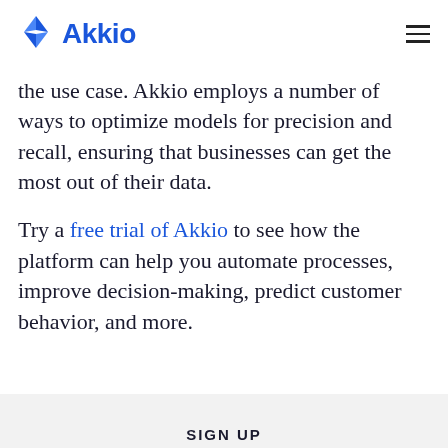Akkio
the use case. Akkio employs a number of ways to optimize models for precision and recall, ensuring that businesses can get the most out of their data.
Try a free trial of Akkio to see how the platform can help you automate processes, improve decision-making, predict customer behavior, and more.
SIGN UP